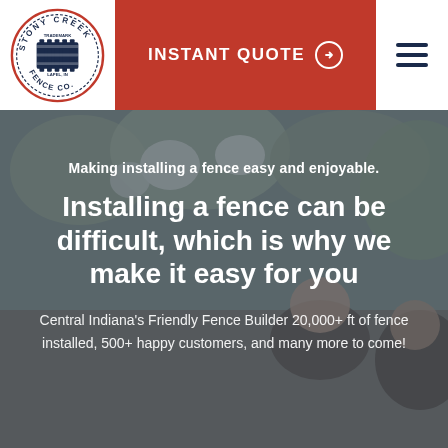[Figure (logo): Stony Creek Fence Co. circular logo with fence graphic and text around border]
INSTANT QUOTE →
[Figure (other): Hamburger menu icon with three horizontal dark blue lines]
[Figure (photo): Background hero photo showing two people smiling outdoors with trees/flowers, overlaid with dark semi-transparent overlay]
Making installing a fence easy and enjoyable.
Installing a fence can be difficult, which is why we make it easy for you
Central Indiana's Friendly Fence Builder 20,000+ ft of fence installed, 500+ happy customers, and many more to come!